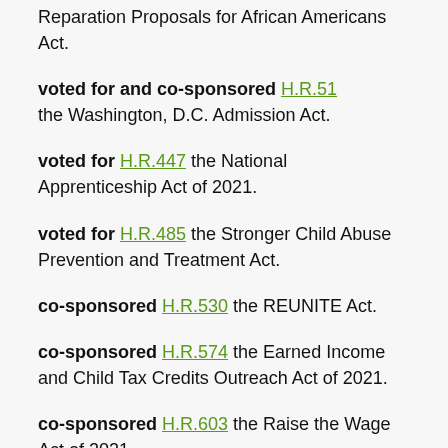Reparation Proposals for African Americans Act.
voted for and co-sponsored H.R.51 the Washington, D.C. Admission Act.
voted for H.R.447 the National Apprenticeship Act of 2021.
voted for H.R.485 the Stronger Child Abuse Prevention and Treatment Act.
co-sponsored H.R.530 the REUNITE Act.
co-sponsored H.R.574 the Earned Income and Child Tax Credits Outreach Act of 2021.
co-sponsored H.R.603 the Raise the Wage Act of 2021.